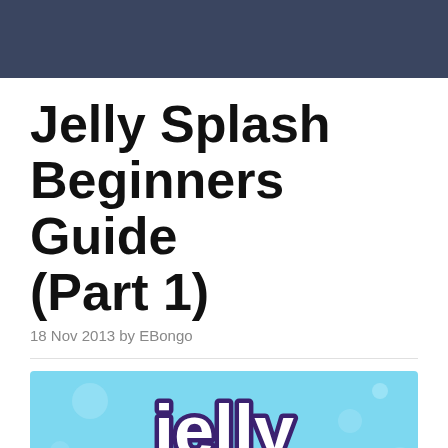Jelly Splash Beginners Guide (Part 1)
18 Nov 2013 by EBongo
[Figure (illustration): Jelly Splash game logo on a light blue background with purple bubble-style lettering spelling 'Jelly' on top and partial text below]